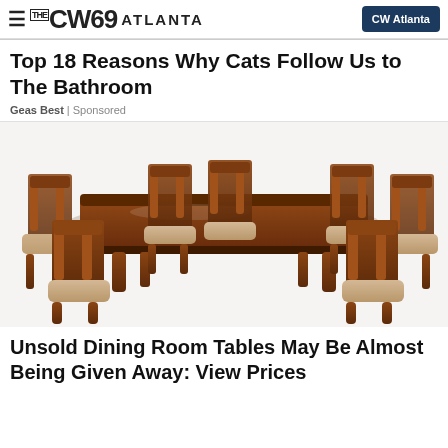THE CW69 ATLANTA | CW Atlanta
Top 18 Reasons Why Cats Follow Us to The Bathroom
Geas Best | Sponsored
[Figure (photo): A formal dining room set with a large rectangular dark wood table and six ornately carved chairs with floral upholstered seats, on a white background.]
Unsold Dining Room Tables May Be Almost Being Given Away: View Prices